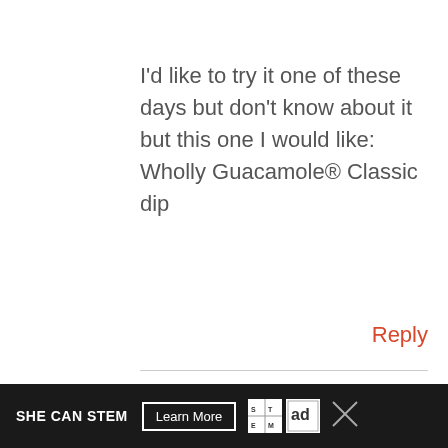I'd like to try it one of these days but don't know about it but this one I would like:
Wholly Guacamole® Classic dip
Reply
KRISTEN M
MAY 3, 2013 AT 1:29 PM
SHE CAN STEM  Learn More